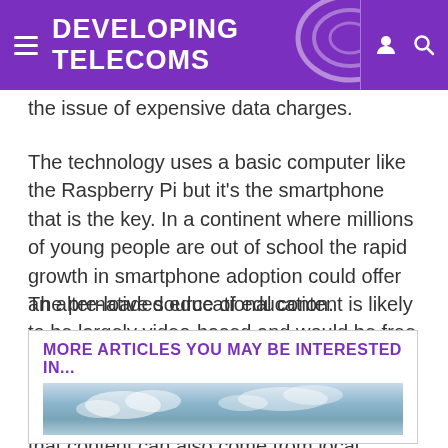Developing Telecoms
the issue of expensive data charges.
The technology uses a basic computer like the Raspberry Pi but it's the smartphone that is the key. In a continent where millions of young people are out of school the rapid growth in smartphone adoption could offer an alternative source of education.
The pre-loaded educational content is likely to be largely video-based and would be free to access by anyone at any time. While the system can work with existing educational content packages, ultimately Sachiti hopes that content can also come from local educators.
MORE ARTICLES YOU MAY BE INTERESTED IN...
[Figure (photo): Sky/cloud photograph thumbnail]